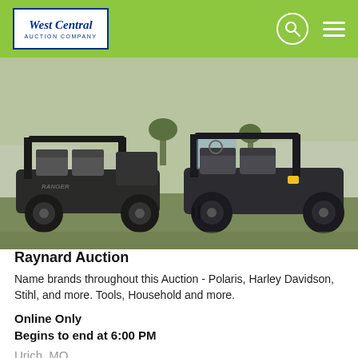West Central Auction Company
[Figure (photo): Two Polaris utility side-by-side vehicles (UTVs) parked outdoors on grass with farm buildings in background]
Raynard Auction
Name brands throughout this Auction - Polaris, Harley Davidson, Stihl, and more. Tools, Household and more.
Online Only
Begins to end at 6:00 PM
Urich, MO